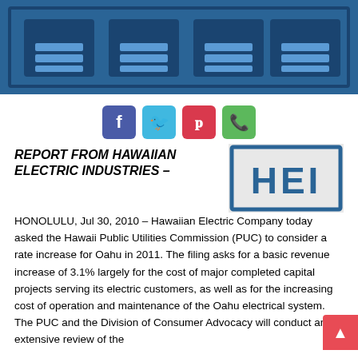[Figure (logo): HEI (Hawaiian Electric Industries) decorative banner with blue blocks at top of page]
[Figure (infographic): Social media sharing buttons: Facebook (blue), Twitter (cyan), Pinterest (red), WhatsApp (green)]
REPORT FROM HAWAIIAN ELECTRIC INDUSTRIES –
[Figure (logo): HEI logo — blue bordered box with large blue letters HEI on white/grey background]
HONOLULU, Jul 30, 2010 – Hawaiian Electric Company today asked the Hawaii Public Utilities Commission (PUC) to consider a rate increase for Oahu in 2011. The filing asks for a basic revenue increase of 3.1% largely for the cost of major completed capital projects serving its electric customers, as well as for the increasing cost of operation and maintenance of the Oahu electrical system. The PUC and the Division of Consumer Advocacy will conduct an extensive review of the